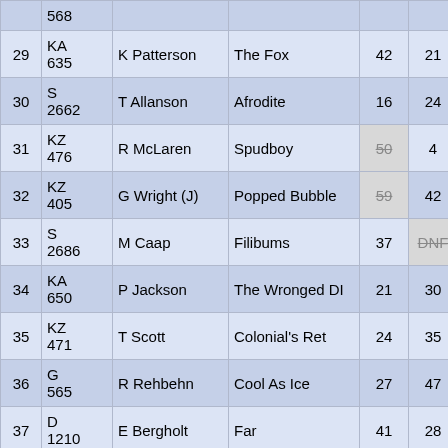| # | Code | Name | Boat | R1 | R2 | R3 |  |
| --- | --- | --- | --- | --- | --- | --- | --- |
|  | 568 |  |  |  |  |  |  |
| 29 | KA 635 | K Patterson | The Fox | 42 | 21 | 62 |  |
| 30 | S 2662 | T Allanson | Afrodite | 16 | 24 | 30 |  |
| 31 | KZ 476 | R McLaren | Spudboy | 50 | 4 | 41 |  |
| 32 | KZ 405 | G Wright (J) | Popped Bubble | 59 | 42 | 18 |  |
| 33 | S 2686 | M Caap | Filibums | 37 | DNF | 12 |  |
| 34 | KA 650 | P Jackson | The Wronged DI | 21 | 30 | 23 |  |
| 35 | KZ 471 | T Scott | Colonial's Ret | 24 | 35 | 50 |  |
| 36 | G 565 | R Rehbehn | Cool As Ice | 27 | 47 | DSQ |  |
| 37 | D 1210 | E Bergholt | Far | 41 | 28 | 40 |  |